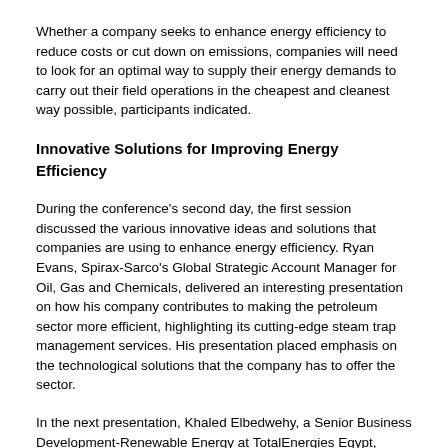Whether a company seeks to enhance energy efficiency to reduce costs or cut down on emissions, companies will need to look for an optimal way to supply their energy demands to carry out their field operations in the cheapest and cleanest way possible, participants indicated.
Innovative Solutions for Improving Energy Efficiency
During the conference's second day, the first session discussed the various innovative ideas and solutions that companies are using to enhance energy efficiency. Ryan Evans, Spirax-Sarco's Global Strategic Account Manager for Oil, Gas and Chemicals, delivered an interesting presentation on how his company contributes to making the petroleum sector more efficient, highlighting its cutting-edge steam trap management services. His presentation placed emphasis on the technological solutions that the company has to offer the sector.
In the next presentation, Khaled Elbedwehy, a Senior Business Development-Renewable Energy at TotalEnergies Egypt, outlined his company's success story in improving